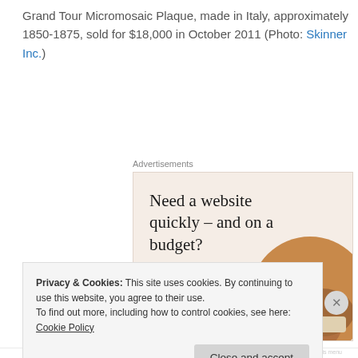Grand Tour Micromosaic Plaque, made in Italy, approximately 1850-1875, sold for $18,000 in October 2011 (Photo: Skinner Inc.)
[Figure (screenshot): Advertisement banner with beige background. Headline: 'Need a website quickly – and on a budget?' Subtext: 'Let us build it for you'. Button: 'Let's get started'. Right side shows circular cropped photo of hands working on a laptop.]
Privacy & Cookies: This site uses cookies. By continuing to use this website, you agree to their use. To find out more, including how to control cookies, see here: Cookie Policy
Close and accept